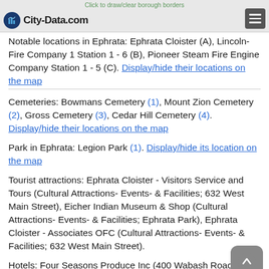Click to draw/clear borough borders
Notable locations in Ephrata: Ephrata Cloister (A), Lincoln-Fire Company 1 Station 1 - 6 (B), Pioneer Steam Fire Engine Company Station 1 - 5 (C). Display/hide their locations on the map
Cemeteries: Bowmans Cemetery (1), Mount Zion Cemetery (2), Gross Cemetery (3), Cedar Hill Cemetery (4). Display/hide their locations on the map
Park in Ephrata: Legion Park (1). Display/hide its location on the map
Tourist attractions: Ephrata Cloister - Visitors Service and Tours (Cultural Attractions- Events- & Facilities; 632 West Main Street), Eicher Indian Museum & Shop (Cultural Attractions- Events- & Facilities; Ephrata Park), Ephrata Cloister - Associates OFC (Cultural Attractions- Events- & Facilities; 632 West Main Street).
Hotels: Four Seasons Produce Inc (400 Wabash Road), Doylesmid Moteldore Decrease (909 North Road...)